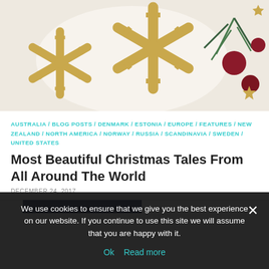[Figure (photo): Christmas decoration photo with golden snowflakes, pine branches, red ornament balls, and golden star on a light background]
AUSTRALIA / BLOG POSTS / DENMARK / ESTONIA / EUROPE / FEATURES / NEW ZEALAND / NORTH AMERICA / NORWAY / RUSSIA / SCANDINAVIA / SWEDEN / UNITED STATES
Most Beautiful Christmas Tales From All Around The World
DECEMBER 24, 2017
We use cookies to ensure that we give you the best experience on our website. If you continue to use this site we will assume that you are happy with it.
Ok   Read more